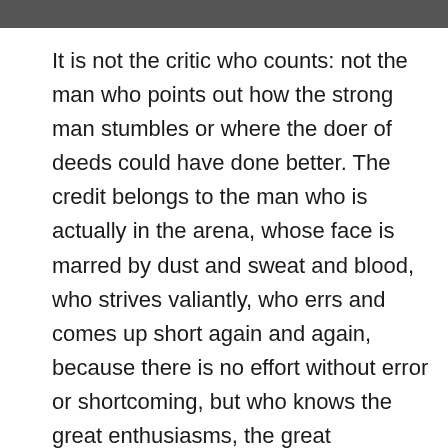[Figure (photo): Partial image strip visible at the top of the page, cropped.]
It is not the critic who counts: not the man who points out how the strong man stumbles or where the doer of deeds could have done better. The credit belongs to the man who is actually in the arena, whose face is marred by dust and sweat and blood, who strives valiantly, who errs and comes up short again and again, because there is no effort without error or shortcoming, but who knows the great enthusiasms, the great devotions, who spends himself for a worthy cause; who, at the best, knows, in the end, the triumph of high achievement, and who, at the worst, if he fails, at least he fails while daring greatly, so that his place shall never be with those cold and timid souls who knew neither victory nor